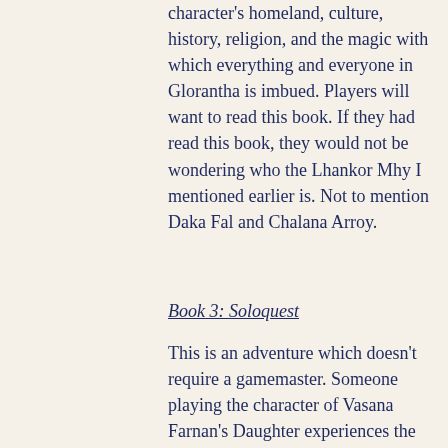character's homeland, culture, history, religion, and the magic with which everything and everyone in Glorantha is imbued. Players will want to read this book. If they had read this book, they would not be wondering who the Lhankor Mhy I mentioned earlier is. Not to mention Daka Fal and Chalana Arroy.
Book 3: Soloquest
This is an adventure which doesn't require a gamemaster. Someone playing the character of Vasana Farnan's Daughter experiences the Battle of Dangerford. Players are presented with a number of options, each option sending them to